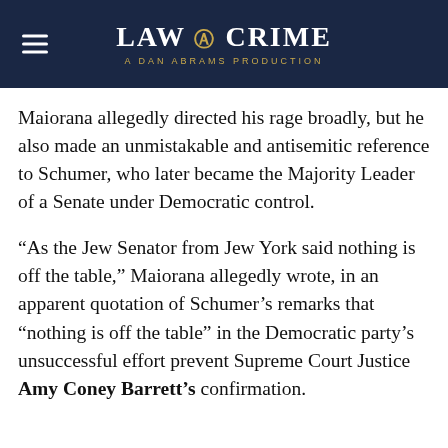LAW & CRIME — A DAN ABRAMS PRODUCTION
Maiorana allegedly directed his rage broadly, but he also made an unmistakable and antisemitic reference to Schumer, who later became the Majority Leader of a Senate under Democratic control.
“As the Jew Senator from Jew York said nothing is off the table,” Maiorana allegedly wrote, in an apparent quotation of Schumer’s remarks that “nothing is off the table” in the Democratic party’s unsuccessful effort prevent Supreme Court Justice Amy Coney Barrett’s confirmation.